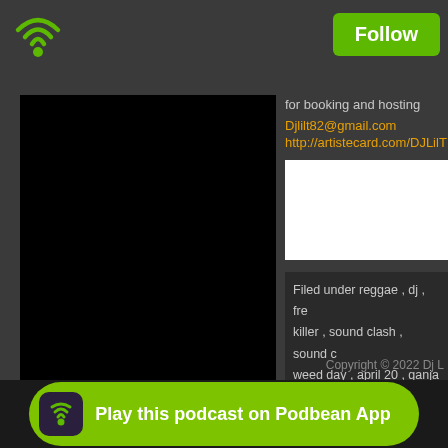[Figure (logo): Green WiFi/Podbean logo icon in top left corner]
Follow
[Figure (photo): Large black square image panel on the left side]
for booking and hosting
Djlilt82@gmail.com
http://artistecard.com/DJLilT
[Figure (other): White rectangular box (possibly an embedded image or ad)]
Filed under reggae , dj , fre killer , sound clash , sound c weed day , april 20 , ganja
Copyright © 2022 Dj L
Play this podcast on Podbean App